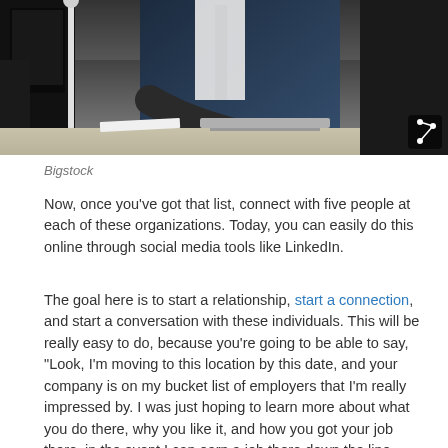[Figure (photo): A person in a dark business suit sitting at a desk with a laptop and monitor, viewed from a low angle in an office setting.]
Bigstock
Now, once you've got that list, connect with five people at each of these organizations. Today, you can easily do this online through social media tools like LinkedIn.
The goal here is to start a relationship, start a connection, and start a conversation with these individuals. This will be really easy to do, because you're going to be able to say, "Look, I'm moving to this location by this date, and your company is on my bucket list of employers that I'm really impressed by. I was just hoping to learn more about what you do there, why you like it, and how you got your job there, in the event I can earn a job there down the line when I